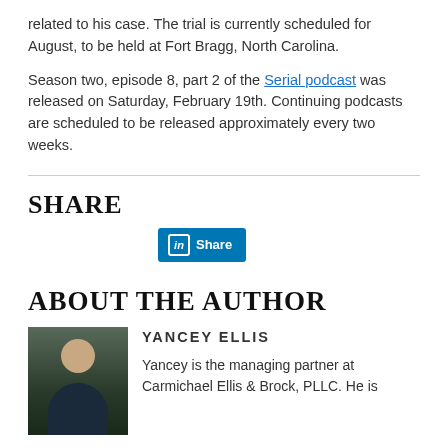related to his case. The trial is currently scheduled for August, to be held at Fort Bragg, North Carolina.
Season two, episode 8, part 2 of the Serial podcast was released on Saturday, February 19th. Continuing podcasts are scheduled to be released approximately every two weeks.
SHARE
[Figure (other): LinkedIn Share button]
ABOUT THE AUTHOR
[Figure (photo): Headshot photo of Yancey Ellis, a man in a suit and tie, dark background]
YANCEY ELLIS
Yancey is the managing partner at Carmichael Ellis & Brock, PLLC. He is